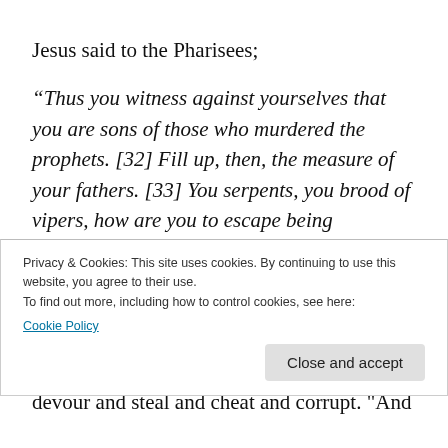Jesus said to the Pharisees;
“Thus you witness against yourselves that you are sons of those who murdered the prophets. [32] Fill up, then, the measure of your fathers. [33] You serpents, you brood of vipers, how are you to escape being sentenced to hell? [34] Therefore I send you prophets and wise men and scribes, some of whom you will kill and crucify, and some you will flog in your synagogues and persecute from
devour and steal and cheat and corrupt. "And
Privacy & Cookies: This site uses cookies. By continuing to use this website, you agree to their use.
To find out more, including how to control cookies, see here: Cookie Policy